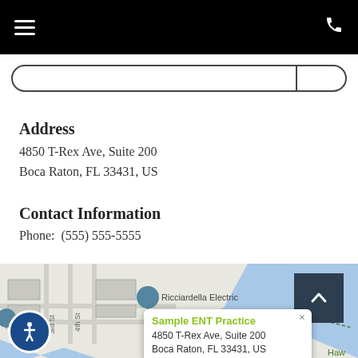Navigation bar with hamburger menu and phone icon
Address
4850 T-Rex Ave, Suite 200
Boca Raton, FL 33431, US
Contact Information
Phone:  (555) 555-5555
[Figure (map): Google Maps view showing location of Sample ENT Practice at 4850 T-Rex Ave, Suite 200, Boca Raton, FL 33431, US. Map shows Ricciardella Electric marker, street labels for 3rd St and 4th St, water body in blue, and a popup with the practice address.]